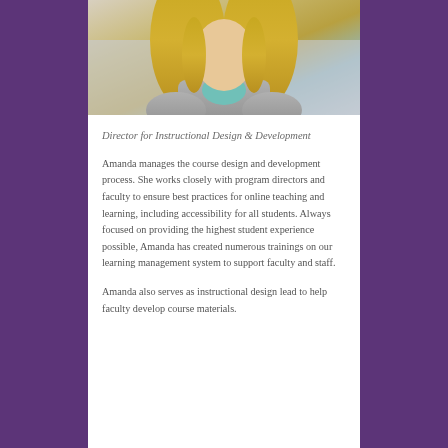[Figure (photo): Headshot photo of a woman with long blonde hair wearing a gray jacket and teal top, cropped at shoulders]
Director for Instructional Design & Development
Amanda manages the course design and development process. She works closely with program directors and faculty to ensure best practices for online teaching and learning, including accessibility for all students. Always focused on providing the highest student experience possible, Amanda has created numerous trainings on our learning management system to support faculty and staff.
Amanda also serves as instructional design lead to help faculty develop course materials.